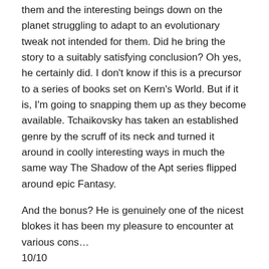them and the interesting beings down on the planet struggling to adapt to an evolutionary tweak not intended for them. Did he bring the story to a suitably satisfying conclusion? Oh yes, he certainly did. I don't know if this is a precursor to a series of books set on Kern's World. But if it is, I'm going to snapping them up as they become available. Tchaikovsky has taken an established genre by the scruff of its neck and turned it around in coolly interesting ways in much the same way The Shadow of the Apt series flipped around epic Fantasy.
And the bonus? He is genuinely one of the nicest blokes it has been my pleasure to encounter at various cons… 10/10
Share this: